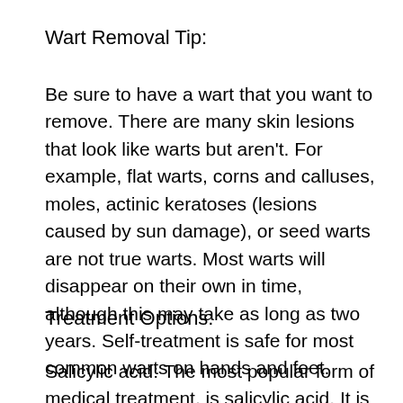Wart Removal Tip:
Be sure to have a wart that you want to remove. There are many skin lesions that look like warts but aren't. For example, flat warts, corns and calluses, moles, actinic keratoses (lesions caused by sun damage), or seed warts are not true warts. Most warts will disappear on their own in time, although this may take as long as two years. Self-treatment is safe for most common warts on hands and feet.
Treatment Options:
Salicylic acid: The most popular form of medical treatment, is salicylic acid. It is available